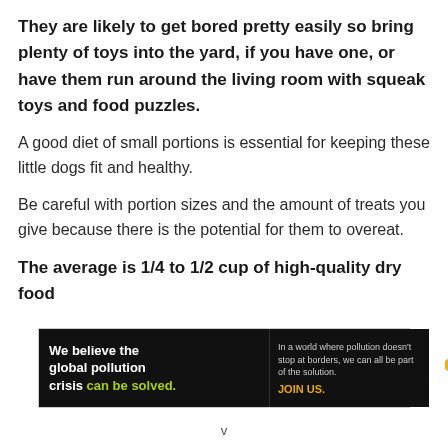They are likely to get bored pretty easily so bring plenty of toys into the yard, if you have one, or have them run around the living room with squeak toys and food puzzles.
A good diet of small portions is essential for keeping these little dogs fit and healthy.
Be careful with portion sizes and the amount of treats you give because there is the potential for them to overeat.
The average is 1/4 to 1/2 cup of high-quality dry food
[Figure (infographic): Pure Earth advertisement banner. Left black section reads 'We believe the global pollution crisis can be solved.' (with 'can be solved.' in green). Middle black section reads 'In a world where pollution doesn't stop at borders, we can all be part of the solution. JOIN US.' (JOIN US in yellow). Right white section shows Pure Earth logo with diamond/chevron icon and 'PURE EARTH' text.]
v